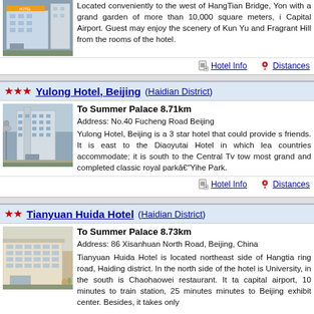[Figure (photo): Hotel building photo - top section partial]
Located conveniently to the west of HangTian Bridge, Yon with a grand garden of more than 10,000 square meters, i Capital Airport. Guest may enjoy the scenery of Kun Yu and Fragrant Hill from the rooms of the hotel.
Hotel Info   Distances
★★★ Yulong Hotel, Beijing (Haidian District)
[Figure (photo): Yulong Hotel Beijing building photo]
To Summer Palace 8.71km
Address: No.40 Fucheng Road Beijing
Yulong Hotel, Beijing is a 3 star hotel that could provide s friends. It is east to the Diaoyutai Hotel in which lea countries accommodate; it is south to the Central Tv tow most grand and completed classic royal parkâ€"Yihe Park.
Hotel Info   Distances
★★ Tianyuan Huida Hotel (Haidian District)
[Figure (photo): Tianyuan Huida Hotel building photo]
To Summer Palace 8.73km
Address: 86 Xisanhuan North Road, Beijing, China
Tianyuan Huida Hotel is located northeast side of Hangtia ring road, Haiding district. In the north side of the hotel is University, in the south is Chaohaowei restaurant. It ta capital airport, 10 minutes to train station, 25 minutes minutes to Beijing exhibit center. Besides, it takes only